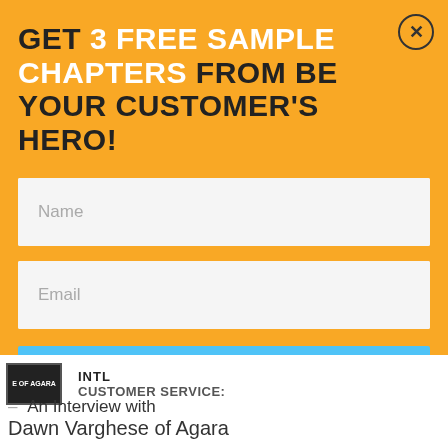GET 3 FREE SAMPLE CHAPTERS FROM BE YOUR CUSTOMER'S HERO!
[Figure (screenshot): Web form with Name input field placeholder text]
[Figure (screenshot): Web form with Email input field placeholder text]
[Figure (screenshot): Blue SUBSCRIBE button]
An Interview with Dawn Varghese of Agara